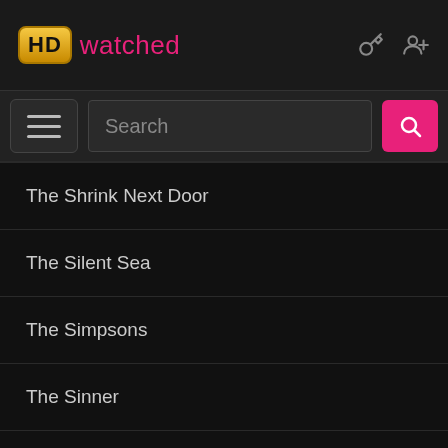HD watched
Search
The Shrink Next Door
The Silent Sea
The Simpsons
The Sinner
The Sopranos
The Spanish Princess
The Staircase
The Stand